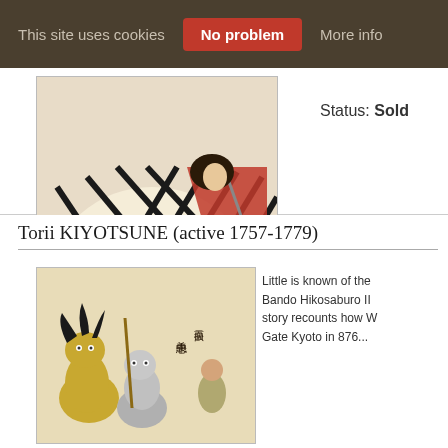This site uses cookies  No problem  More info
Status: Sold
[Figure (photo): Japanese woodblock print showing a figure in dramatic black and white diamond/lattice patterned kimono with red elements, in a dynamic pose]
Click here to view image full size.
Torii KIYOTSUNE (active 1757-1779)
[Figure (photo): Japanese woodblock print showing figures with demons or supernatural creatures in yellow and grey tones with Japanese calligraphy]
Little is known of the Bando Hikosaburo II story recounts how W Gato Kyoto in 876...